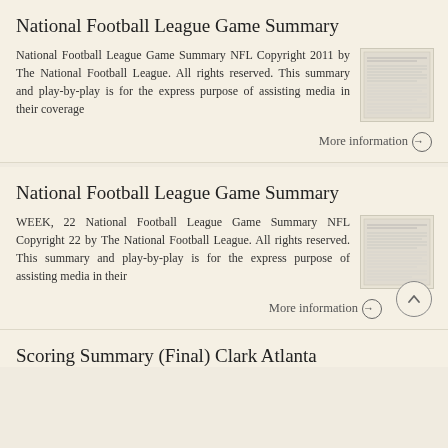National Football League Game Summary
National Football League Game Summary NFL Copyright 2011 by The National Football League. All rights reserved. This summary and play-by-play is for the express purpose of assisting media in their coverage
More information →
National Football League Game Summary
WEEK, 22 National Football League Game Summary NFL Copyright 22 by The National Football League. All rights reserved. This summary and play-by-play is for the express purpose of assisting media in their
More information →
Scoring Summary (Final) Clark Atlanta